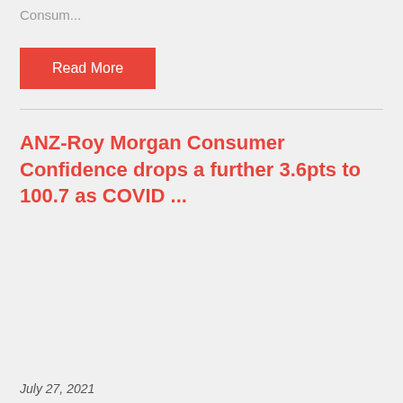Consum...
Read More
ANZ-Roy Morgan Consumer Confidence drops a further 3.6pts to 100.7 as COVID ...
July 27, 2021